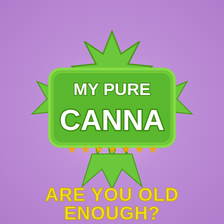[Figure (logo): My Pure Canna cannabis brand logo: green cannabis leaf/starburst shape with white bold text 'MY PURE CANNA' and gold stars below, on a purple background]
ARE YOU OLD ENOUGH?